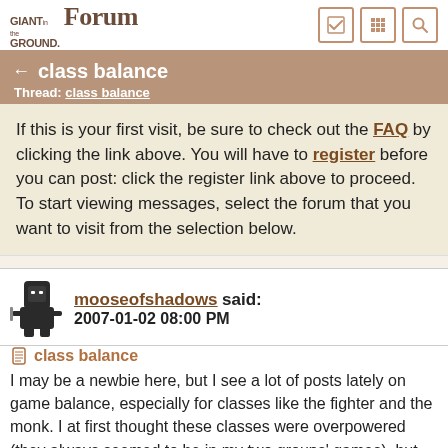Giant in the Playground Forum
← class balance
Thread: class balance
If this is your first visit, be sure to check out the FAQ by clicking the link above. You will have to register before you can post: click the register link above to proceed. To start viewing messages, select the forum that you want to visit from the selection below.
mooseofshadows said:
2007-01-02 08:00 PM
class balance
I may be a newbie here, but I see a lot of posts lately on game balance, especially for classes like the fighter and the monk. I at first thought these classes were overpowered (they always seemed to be in my two groups' games), but apparently they are seen by the rest of you to be